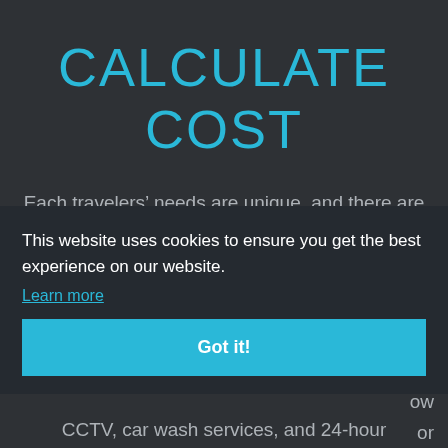CALCULATE COST
Each travelers’ needs are unique, and there are many different amenities to choose from when it comes to airport car parks. Important things to consider are whether
This website uses cookies to ensure you get the best experience on our website.
Learn more
Got it!
e nd, not ow or may ;,
CCTV, car wash services, and 24-hour